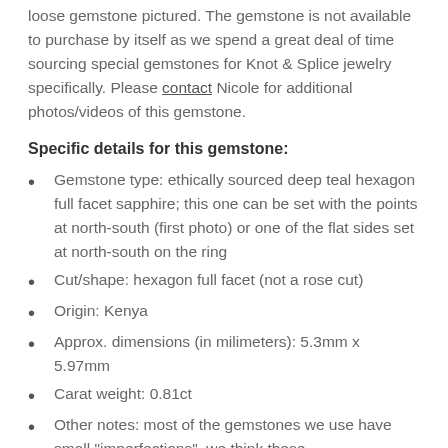loose gemstone pictured. The gemstone is not available to purchase by itself as we spend a great deal of time sourcing special gemstones for Knot & Splice jewelry specifically. Please contact Nicole for additional photos/videos of this gemstone.
Specific details for this gemstone:
Gemstone type: ethically sourced deep teal hexagon full facet sapphire; this one can be set with the points at north-south (first photo) or one of the flat sides set at north-south on the ring
Cut/shape: hexagon full facet (not a rose cut)
Origin: Kenya
Approx. dimensions (in milimeters): 5.3mm x 5.97mm
Carat weight: 0.81ct
Other notes: most of the gemstones we use have small "imperfections"–we think these